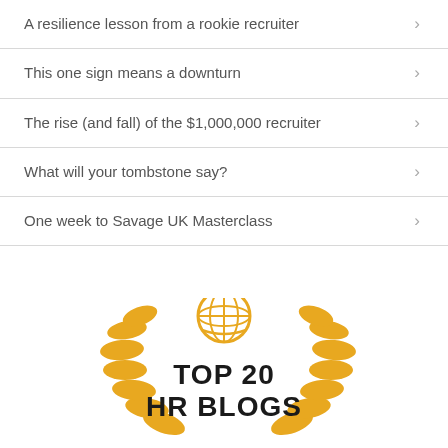A resilience lesson from a rookie recruiter
This one sign means a downturn
The rise (and fall) of the $1,000,000 recruiter
What will your tombstone say?
One week to Savage UK Masterclass
[Figure (logo): TOP 20 HR BLOGS badge with golden laurel wreath and globe icon]